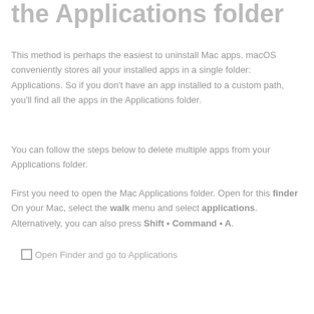the Applications folder
This method is perhaps the easiest to uninstall Mac apps. macOS conveniently stores all your installed apps in a single folder: Applications. So if you don't have an app installed to a custom path, you'll find all the apps in the Applications folder.
You can follow the steps below to delete multiple apps from your Applications folder.
First you need to open the Mac Applications folder. Open for this finder On your Mac, select the walk menu and select applications. Alternatively, you can also press Shift • Command • A.
[Figure (screenshot): Open Finder and go to Applications — placeholder image]